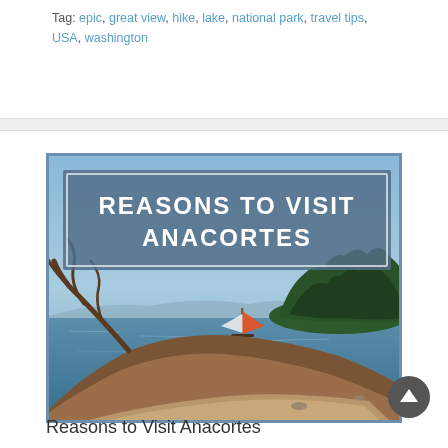Tag: epic, great view, hike, lake, national park, travel tips, USA, washington
[Figure (photo): A scenic photo of Anacortes waterfront with driftwood logs in the foreground, blue water and a sailboat in the middle, forested island in the background, blue sky. An overlay box reads 'REASONS TO VISIT ANACORTES' in bold white uppercase text on a semi-transparent blue-grey background.]
Reasons to Visit Anacortes